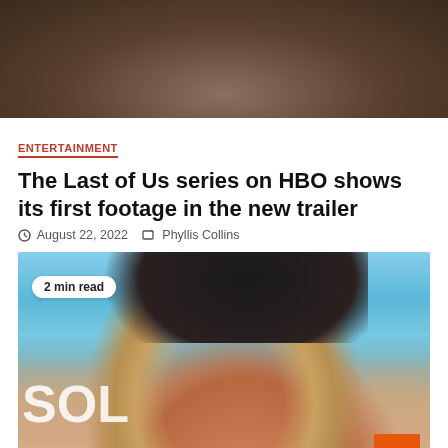[Figure (photo): Top cropped photo showing a person, dark toned image]
ENTERTAINMENT
The Last of Us series on HBO shows its first footage in the new trailer
August 22, 2022   Phyllis Collins
[Figure (photo): Woman with blonde hair wearing a black beret hat, smiling, with a '2 min read' badge overlay and 'SOL' text visible in background. Orange scroll-to-top button in bottom right corner.]